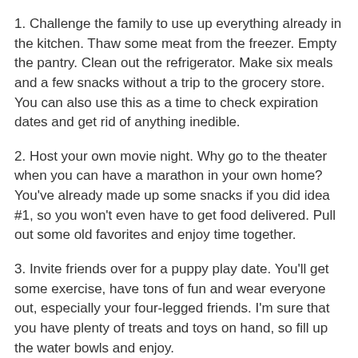1. Challenge the family to use up everything already in the kitchen. Thaw some meat from the freezer. Empty the pantry. Clean out the refrigerator. Make six meals and a few snacks without a trip to the grocery store. You can also use this as a time to check expiration dates and get rid of anything inedible.
2. Host your own movie night. Why go to the theater when you can have a marathon in your own home? You've already made up some snacks if you did idea #1, so you won't even have to get food delivered. Pull out some old favorites and enjoy time together.
3. Invite friends over for a puppy play date. You'll get some exercise, have tons of fun and wear everyone out, especially your four-legged friends. I'm sure that you have plenty of treats and toys on hand, so fill up the water bowls and enjoy.
4. Check out your city's tourism website and find some free activities for the whole family. There are many organizations hosting events every single weekend, so try something different, learn a new skill and spend time together out on the town.
5. Is it too cold outside this weekend? Do all the things you